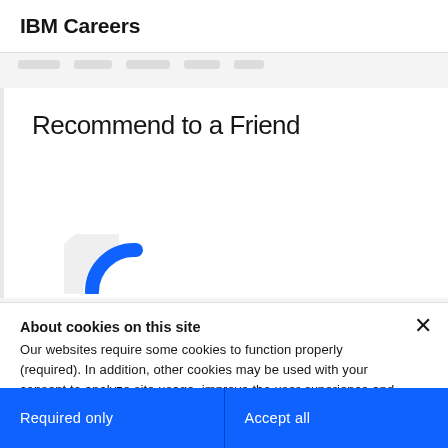IBM Careers
[Figure (screenshot): Partially visible IBM Careers webpage showing a 'Recommend to a Friend' section with a blue arc graphic, overlaid by a cookie consent dialog.]
Recommend to a Friend
About cookies on this site
Our websites require some cookies to function properly (required). In addition, other cookies may be used with your consent to analyze site usage, improve the user experience and for advertising.

For more information, please review your Cookie preferences options and IBM's privacy statement.
Required only
Accept all